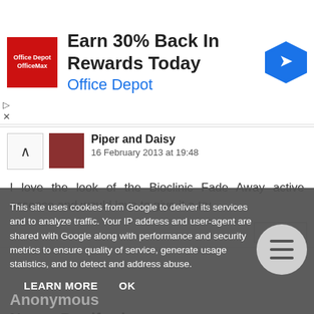[Figure (infographic): Advertisement banner: Office Depot/OfficeMax logo (red square), text 'Earn 30% Back In Rewards Today' and 'Office Depot', blue diamond arrow icon on right.]
Piper and Daisy
16 February 2013 at 19:48
I love the look of the Bioclinic Fade Away active essence and would love to give it a try
Nancy Bradford
16 February 2013 at 20:09
Marcel Makeup palette
This site uses cookies from Google to deliver its services and to analyze traffic. Your IP address and user-agent are shared with Google along with performance and security metrics to ensure quality of service, generate usage statistics, and to detect and address abuse.
LEARN MORE
OK
Anonymous